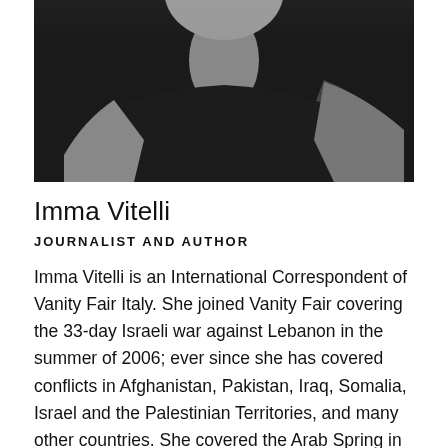[Figure (photo): Black and white portrait photo of Imma Vitelli, cropped to show upper body, dark clothing, arms crossed.]
Imma Vitelli
JOURNALIST AND AUTHOR
Imma Vitelli is an International Correspondent of Vanity Fair Italy. She joined Vanity Fair covering the 33-day Israeli war against Lebanon in the summer of 2006; ever since she has covered conflicts in Afghanistan, Pakistan, Iraq, Somalia, Israel and the Palestinian Territories, and many other countries. She covered the Arab Spring in Tunisia and in Egypt and was one of the first foreign reporters to travel to Benghazi to tell the story of the beginning of the Libyan revolution. She was born in Matera, Italy, in